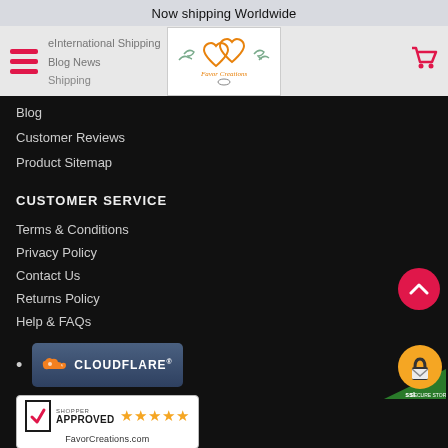Now shipping Worldwide
International Shipping
Blog News
Shipping
[Figure (logo): Favor Creations logo with hearts and birds]
Blog
Customer Reviews
Product Sitemap
CUSTOMER SERVICE
Terms & Conditions
Privacy Policy
Contact Us
Returns Policy
Help & FAQs
[Figure (logo): Cloudflare badge]
[Figure (logo): Shopper Approved 5-star badge for FavorCreations.com]
[Figure (logo): SSL Secure Store badge]